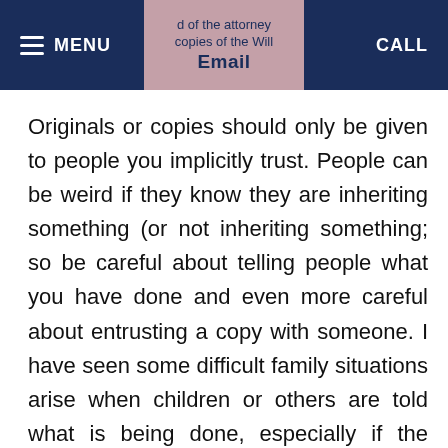≡ MENU | d of the attorney copies of the Will | Email | CALL
Originals or copies should only be given to people you implicitly trust. People can be weird if they know they are inheriting something (or not inheriting something; so be careful about telling people what you have done and even more careful about entrusting a copy with someone. I have seen some difficult family situations arise when children or others are told what is being done, especially if the distribution is not equal between siblings. If you are going to say anything to anyone, it is